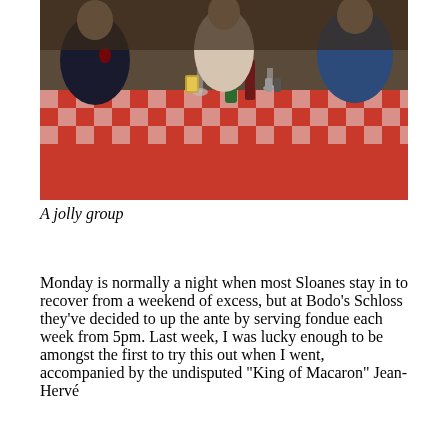[Figure (photo): Group of people seated at a long dinner table covered with a red and white checkered tablecloth, with bottles, glasses, and food visible on the table.]
A jolly group
Monday is normally a night when most Sloanes stay in to recover from a weekend of excess, but at Bodo’s Schloss they’ve decided to up the ante by serving fondue each week from 5pm. Last week, I was lucky enough to be amongst the first to try this out when I went, accompanied by the undisputed “King of Macaron” Jean-Hervé